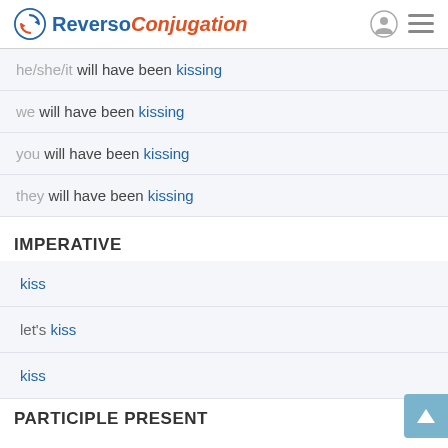Reverso Conjugation
he/she/it will have been kissing
we will have been kissing
you will have been kissing
they will have been kissing
IMPERATIVE
kiss
let's kiss
kiss
PARTICIPLE PRESENT